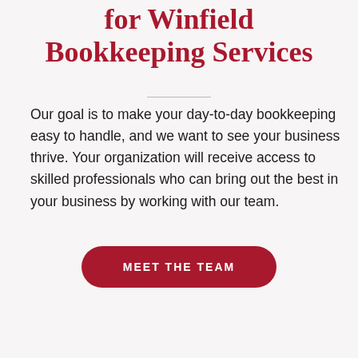for Winfield Bookkeeping Services
Our goal is to make your day-to-day bookkeeping easy to handle, and we want to see your business thrive. Your organization will receive access to skilled professionals who can bring out the best in your business by working with our team.
MEET THE TEAM